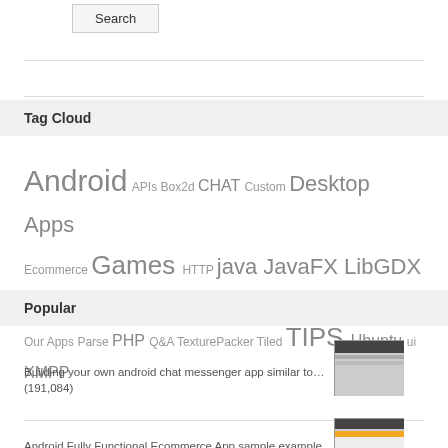Search
Tag Cloud
Android APIs Box2d CHAT Custom Desktop Apps Ecommerce Games HTTP java JavaFX LibGDX Mac Tips Our Apps Parse PHP Q&A TexturePacker Tiled TIPS Ubuntu ui XMPP
Popular
Building your own android chat messenger app similar to… (191,084)
Android Fully Functional Ecommerce App sample example